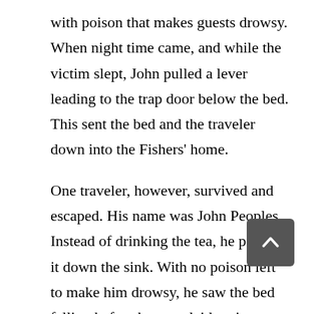with poison that makes guests drowsy. When night time came, and while the victim slept, John pulled a lever leading to the trap door below the bed. This sent the bed and the traveler down into the Fishers' home.
One traveler, however, survived and escaped. His name was John Peoples. Instead of drinking the tea, he poured it down the sink. With no poison left to make him drowsy, he saw the bed falling before he even laid on it.
He immediately ran out of the motel and went straight to the police station to report the incident. The investigation of the police led them to discover all the bodies of the missing people buried beneath the Fishers' home.
The townspeople hanged Lavinia and John in The Old